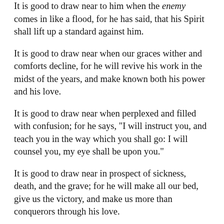It is good to draw near to him when the enemy comes in like a flood, for he has said, that his Spirit shall lift up a standard against him.
It is good to draw near when our graces wither and comforts decline, for he will revive his work in the midst of the years, and make known both his power and his love.
It is good to draw near when perplexed and filled with confusion; for he says, "I will instruct you, and teach you in the way which you shall go: I will counsel you, my eye shall be upon you."
It is good to draw near in prospect of sickness, death, and the grave; for he will make all our bed, give us the victory, and make us more than conquerors through his love.
It is indeed good to draw near to God—for I find it unburdens the mind, relieves the spirits, and comforts the heart. It exercises my graces, leads me to trust in the Lord, and weans me from the things of time. It leads me to be familiar with the Lord, increases my confidence in God, and banishes legal fears from my soul; it sweetens crosses, makes losses bearable, and